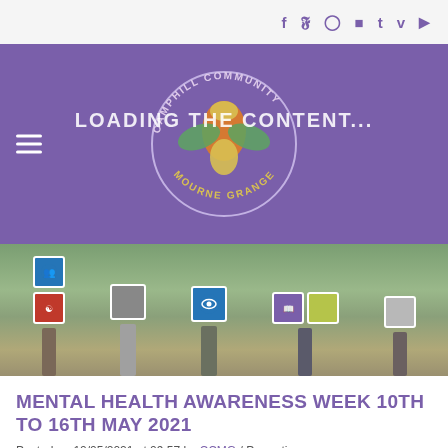f  ʏ  ⊙  ▪  t  v  ▶
[Figure (logo): Camphill Community Mourne Grange circular logo with colorful totem-style figure in orange, green and yellow on purple background, with text 'LOADING THE CONTENT...' overlaid]
[Figure (photo): Group of people standing outdoors on a path holding up printed signs with mental health awareness icons (blue circle with people, red circle with figure, blue circle with eye, purple circle with book, olive/yellow circle with heart)]
MENTAL HEALTH AWARENESS WEEK 10TH TO 16TH MAY 2021
Posted on 10/05/2021 at 09:57 by CCMG / Promoting